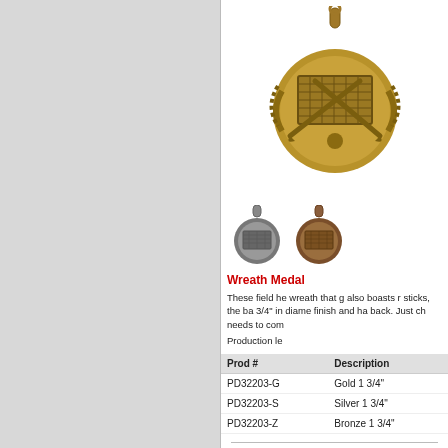[Figure (photo): Gold field hockey wreath medal, large, shown at top]
[Figure (photo): Silver field hockey wreath medal, small]
[Figure (photo): Bronze field hockey wreath medal, small]
Wreath Meda
These field he wreath that g also boasts r sticks, the ba 3/4" in diame finish and ha back. Just ch needs to com
Production le
| Prod # | Description |
| --- | --- |
| PD32203-G | Gold 1 3/4" |
| PD32203-S | Silver 1 3/4" |
| PD32203-Z | Bronze 1 3/4" |
[Figure (photo): Second gold field hockey wreath medal, partially visible at bottom]
Wreath Meda
These field he wreath that g also boasts r sticks, the b